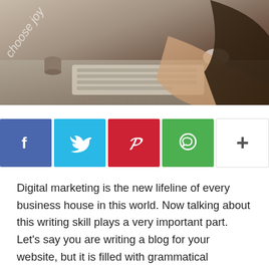[Figure (photo): A person typing on a keyboard at a desk, photographed from an angle showing their hands and upper body]
[Figure (infographic): Social media share buttons: Facebook (blue), Twitter (light blue), Pinterest (red), WhatsApp (green), and a plus/more button (white)]
Digital marketing is the new lifeline of every business house in this world. Now talking about this writing skill plays a very important part. Let's say you are writing a blog for your website, but it is filled with grammatical mistakes and spelling errors. This will lead to annoying your readers and they are not likely to read your blogs or make purchases from your website subsequently. Furthermore, spelling mistakes and grammatical errors lead to search engines failures, and many more headaches. That is why grammatical checkers are a must for everyone in this field.